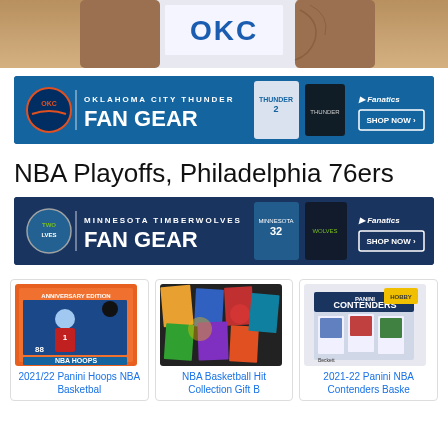[Figure (photo): Partial view of an NBA player in a white jersey with tattoos visible on arms]
[Figure (infographic): Oklahoma City Thunder Fan Gear banner advertisement with Fanatics branding and 'SHOP NOW' button]
NBA Playoffs, Philadelphia 76ers
[Figure (infographic): Minnesota Timberwolves Fan Gear banner advertisement with Fanatics branding and 'SHOP NOW' button]
[Figure (photo): 2021/22 Panini Hoops NBA Basketball card product image]
2021/22 Panini Hoops NBA Basketbal
[Figure (photo): NBA Basketball Hit Collection Gift B product image]
NBA Basketball Hit Collection Gift B
[Figure (photo): 2021-22 Panini NBA Contenders Basketball product box image]
2021-22 Panini NBA Contenders Baske